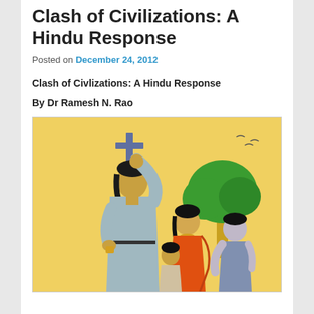Clash of Civilizations: A Hindu Response
Posted on December 24, 2012
Clash of Civlizations: A Hindu Response
By Dr Ramesh N. Rao
[Figure (illustration): Indian folk-art style painting on yellow background showing a robed figure holding a Christian cross aloft, with a woman in traditional Indian dress, a child, and another figure near a green tree.]